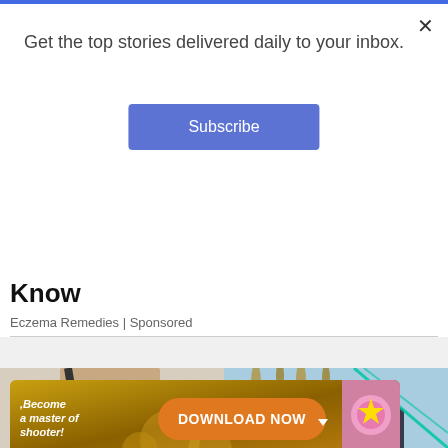Get the top stories delivered daily to your inbox.
Subscribe
Know
Eczema Remedies | Sponsored
[Figure (photo): Woman carrying a large olive green tote bag, wearing a black top]
[Figure (photo): Person wearing a backpack outdoors near tall grass and blue sky]
[Figure (infographic): Advertisement banner: 'Become a master of shooter!' with DOWNLOAD NOW button and game imagery]